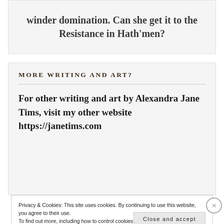winder domination. Can she get it to the Resistance in Hath'men?
MORE WRITING AND ART?
For other writing and art by Alexandra Jane Tims, visit my other website https://janetims.com
Privacy & Cookies: This site uses cookies. By continuing to use this website, you agree to their use. To find out more, including how to control cookies, see here: Cookie Policy
Close and accept